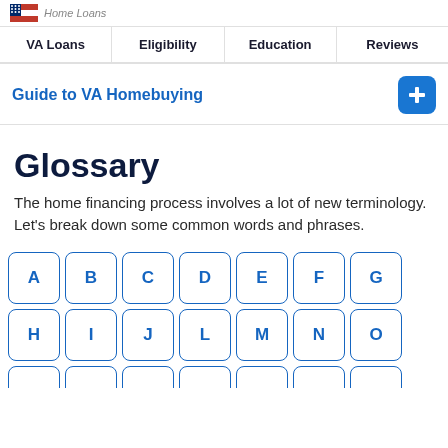Home Loans
VA Loans | Eligibility | Education | Reviews
Guide to VA Homebuying
Glossary
The home financing process involves a lot of new terminology. Let's break down some common words and phrases.
[Figure (other): Alphabet navigation grid with letter buttons: A B C D E F G / H I J L M N O / (partial row visible)]